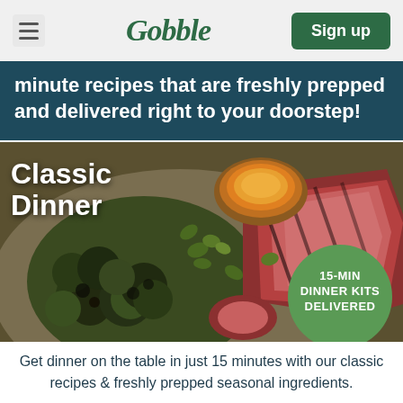Gobble | Sign up
minute recipes that are freshly prepped and delivered right to your doorstep!
[Figure (photo): Overhead food photo of sliced steak with roasted brussels sprouts, a bowl of orange sauce, and fresh herbs on a plate. Text overlay reads 'Classic Dinner'. Green circle badge reads '15-MIN DINNER KITS DELIVERED'.]
Get dinner on the table in just 15 minutes with our classic recipes & freshly prepped seasonal ingredients.